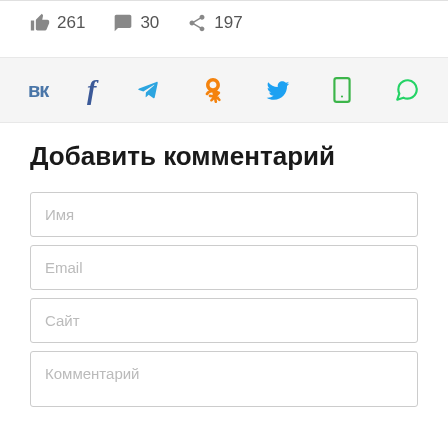👍 261  💬 30  ➤ 197
[Figure (infographic): Social sharing bar with icons: VK, Facebook, Telegram, Odnoklassniki, Twitter, Phone/Viber, WhatsApp]
Добавить комментарий
Имя
Email
Сайт
Комментарий